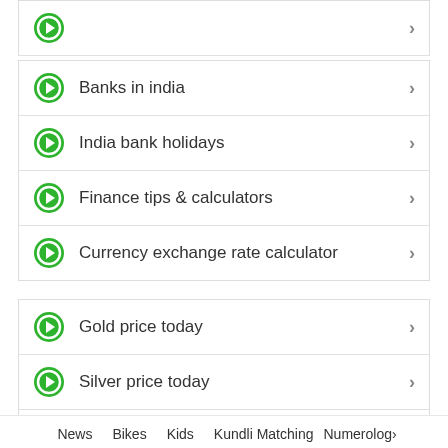Banks in india
India bank holidays
Finance tips & calculators
Currency exchange rate calculator
Gold price today
Silver price today
EMI calculator
Income tax calculator
Car loan Emi calculator
News  Bikes  Kids  Kundli Matching  Numerolog